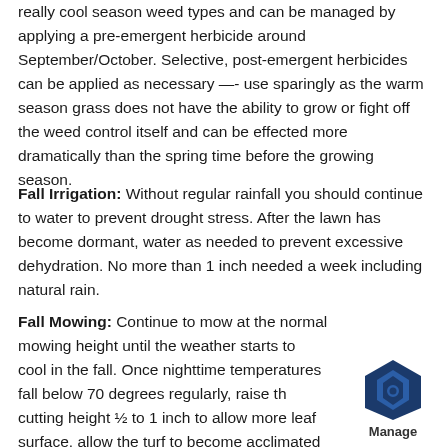really cool season weed types and can be managed by applying a pre-emergent herbicide around September/October. Selective, post-emergent herbicides can be applied as necessary —- use sparingly as the warm season grass does not have the ability to grow or fight off the weed control itself and can be effected more dramatically than the spring time before the growing season.
Fall Irrigation: Without regular rainfall you should continue to water to prevent drought stress. After the lawn has become dormant, water as needed to prevent excessive dehydration. No more than 1 inch needed a week including natural rain.
Fall Mowing: Continue to mow at the normal mowing height until the weather starts to cool in the fall. Once nighttime temperatures fall below 70 degrees regularly, raise th cutting height ½ to 1 inch to allow more leaf surface. allow the turf to become acclimated and insulate th longer. Once fully dormant, cut slightly lower than
[Figure (logo): Blue hexagonal bolt logo with 'Manage' text below]